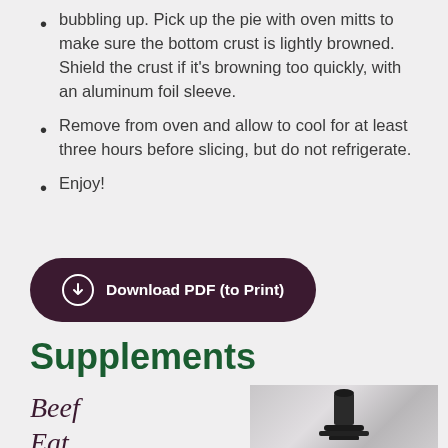bubbling up. Pick up the pie with oven mitts to make sure the bottom crust is lightly browned. Shield the crust if it's browning too quickly, with an aluminum foil sleeve.
Remove from oven and allow to cool for at least three hours before slicing, but do not refrigerate.
Enjoy!
[Figure (other): Dark maroon rounded pill-shaped button with download icon and text 'Download PDF (to Print)']
Supplements
Beef
Eat
[Figure (photo): Partial photo showing what appears to be a dark pedestal or stand on a light marble/grey background]